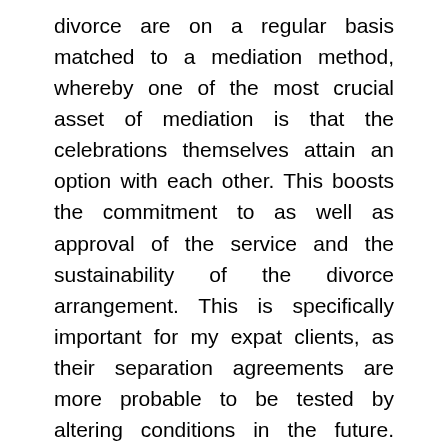divorce are on a regular basis matched to a mediation method, whereby one of the most crucial asset of mediation is that the celebrations themselves attain an option with each other. This boosts the commitment to as well as approval of the service and the sustainability of the divorce arrangement. This is specifically important for my expat clients, as their separation agreements are more probable to be tested by altering conditions in the future. Occasionally, mediation is not an alternative. For example, when the difference in skills as well as understanding between the spouses is undue, intimidating, to create a